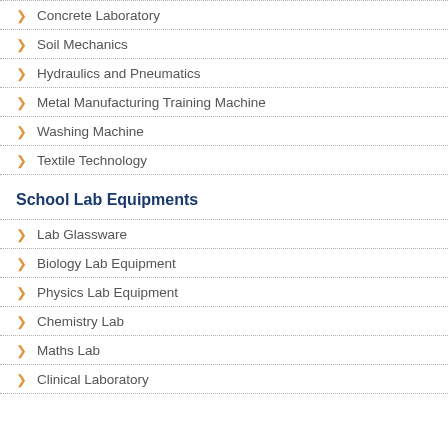Concrete Laboratory
Soil Mechanics
Hydraulics and Pneumatics
Metal Manufacturing Training Machine
Washing Machine
Textile Technology
School Lab Equipments
Lab Glassware
Biology Lab Equipment
Physics Lab Equipment
Chemistry Lab
Maths Lab
Clinical Laboratory